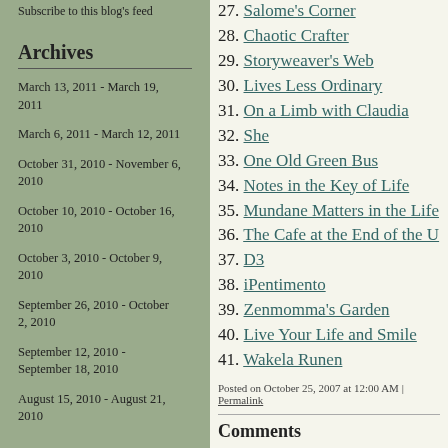Subscribe to this blog's feed
Archives
March 13, 2011 - March 19, 2011
March 6, 2011 - March 12, 2011
October 31, 2010 - November 6, 2010
October 10, 2010 - October 16, 2010
October 3, 2010 - October 9, 2010
September 26, 2010 - October 2, 2010
September 12, 2010 - September 18, 2010
August 15, 2010 - August 21, 2010
27. Salome's Corner
28. Chaotic Crafter
29. Storyweaver's Web
30. Lives Less Ordinary
31. On a Limb with Claudia
32. She
33. One Old Green Bus
34. Notes in the Key of Life
35. Mundane Matters in the Life
36. The Cafe at the End of the U
37. D3
38. iPentimento
39. Zenmomma's Garden
40. Live Your Life and Smile
41. Wakela Runen
Posted on October 25, 2007 at 12:00 AM | Permalink
Comments